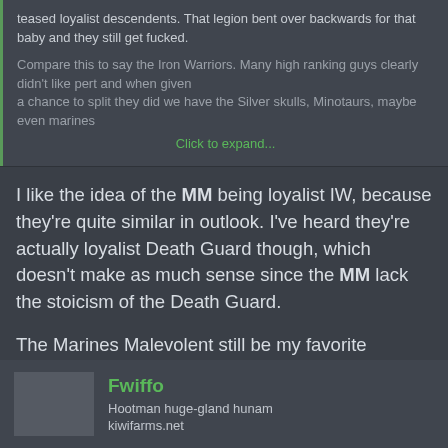teased loyalist descendents. That legion bent over backwards for that baby and they still get fucked.

Compare this to say the Iron Warriors. Many high ranking guys clearly didn't like pert and when given a chance to split they did we have the Silver skulls, Minotaurs, maybe even marines
Click to expand...
I like the idea of the MM being loyalist IW, because they're quite similar in outlook. I've heard they're actually loyalist Death Guard though, which doesn't make as much sense since the MM lack the stoicism of the Death Guard.
The Marines Malevolent still be my favorite Imperial Chapter, though.
🔗🌙 Cpl. Long Dong Silver, Snekposter and 5t3n0g0ph3r
Fwiffo
Hootman huge-gland hunam
kiwifarms.net